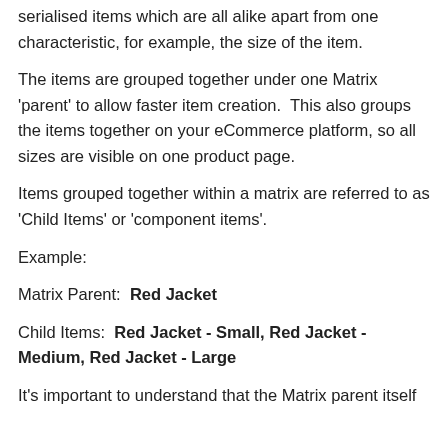serialised items which are all alike apart from one characteristic, for example, the size of the item.
The items are grouped together under one Matrix 'parent' to allow faster item creation.  This also groups the items together on your eCommerce platform, so all sizes are visible on one product page.
Items grouped together within a matrix are referred to as 'Child Items' or 'component items'.
Example:
Matrix Parent:  Red Jacket
Child Items:  Red Jacket - Small, Red Jacket - Medium, Red Jacket - Large
It's important to understand that the Matrix parent itself